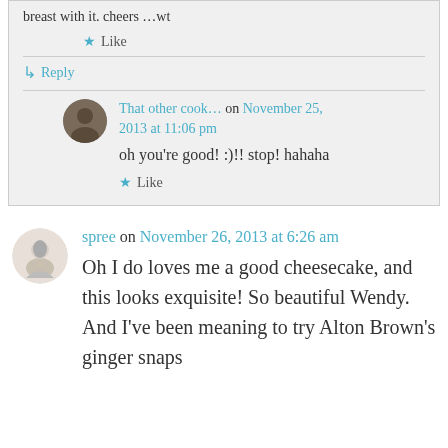breast with it. cheers …wt
Like
Reply
That other cook… on November 25, 2013 at 11:06 pm
oh you're good! :)!! stop! hahaha
Like
spree on November 26, 2013 at 6:26 am
Oh I do loves me a good cheesecake, and this looks exquisite! So beautiful Wendy. And I've been meaning to try Alton Brown's ginger snaps